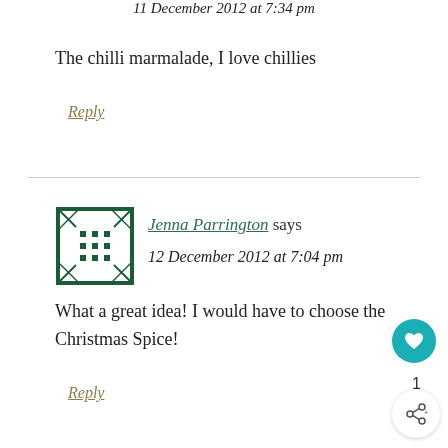11 December 2012 at 7:34 pm
The chilli marmalade, I love chillies
Reply
[Figure (illustration): Square avatar with green geometric quilt/snowflake pattern on white background with dark green border]
Jenna Parrington says
12 December 2012 at 7:04 pm
What a great idea! I would have to choose the Christmas Spice!
Reply